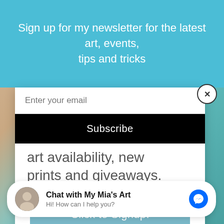[Figure (screenshot): Website popup overlay with newsletter signup form on a teal background, over an art-themed photo background showing a painting palette with teal and beige colors]
Sign up for my newsletter for the latest art, events, tips and tricks
Enter your email
Subscribe
art availability, new prints and giveaways.
Click to Signup!
Chat with My Mia's Art
Hi! How can I help you?